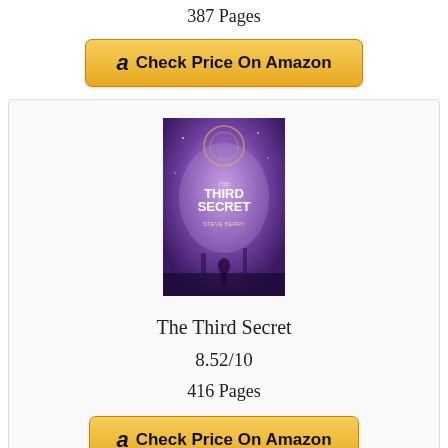387 Pages
[Figure (other): Amazon 'Check Price On Amazon' button with Amazon logo]
[Figure (photo): Book cover of 'The Third Secret' by Steve Berry, purple-toned cover with a figure silhouette]
The Third Secret
8.52/10
416 Pages
[Figure (other): Amazon 'Check Price On Amazon' button with Amazon logo]